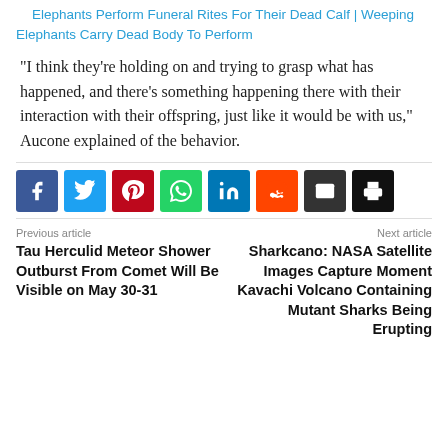Elephants Perform Funeral Rites For Their Dead Calf | Weeping Elephants Carry Dead Body To Perform
“I think they’re holding on and trying to grasp what has happened, and there's something happening there with their interaction with their offspring, just like it would be with us,” Aucone explained of the behavior.
[Figure (infographic): Social media share buttons: Facebook, Twitter, Pinterest, WhatsApp, LinkedIn, Reddit, Email, Print]
Previous article
Next article
Tau Herculid Meteor Shower Outburst From Comet Will Be Visible on May 30-31
Sharkcano: NASA Satellite Images Capture Moment Kavachi Volcano Containing Mutant Sharks Being Erupting